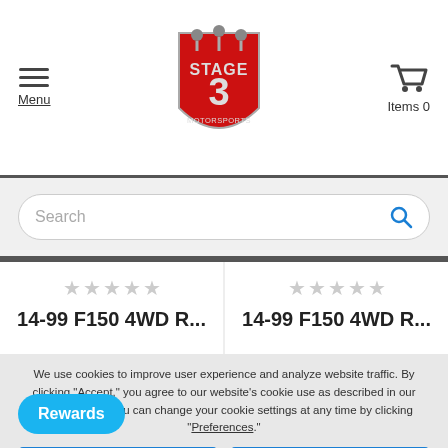[Figure (screenshot): Stage 3 Motorsports website header with hamburger menu, logo, and cart icon]
Menu
Items 0
Search
We use cookies to improve user experience and analyze website traffic. By clicking "Accept," you agree to our website's cookie use as described in our Cookie Policy. You can change your cookie settings at any time by clicking "Preferences".
Decline
Accept
Preferences
Rewards